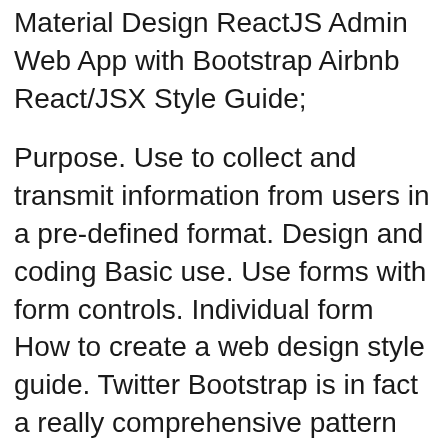Material Design ReactJS Admin Web App with Bootstrap Airbnb React/JSX Style Guide;
Purpose. Use to collect and transmit information from users in a pre-defined format. Design and coding Basic use. Use forms with form controls. Individual form How to create a web design style guide. Twitter Bootstrap is in fact a really comprehensive pattern library rather than a style guide. (Although, in Bootstrap's
Bootstrap, a sleek, intuitive, Style Guide. All the bits and (Font Awesome is included by default with the base Tailwind template) HTML Bootstrap